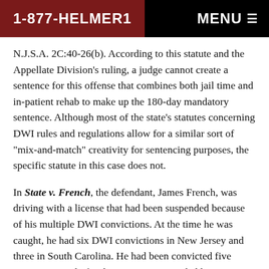1-877-HELMER1    MENU
N.J.S.A. 2C:40-26(b). According to this statute and the Appellate Division's ruling, a judge cannot create a sentence for this offense that combines both jail time and in-patient rehab to make up the 180-day mandatory sentence. Although most of the state's statutes concerning DWI rules and regulations allow for a similar sort of "mix-and-match" creativity for sentencing purposes, the specific statute in this case does not.
In State v. French, the defendant, James French, was driving with a license that had been suspended because of his multiple DWI convictions. At the time he was caught, he had six DWI convictions in New Jersey and three in South Carolina. He had been convicted five times previously for driving on a suspended license. According to court documents, French plead guilty and was sentenced to first spend 90 days in jail